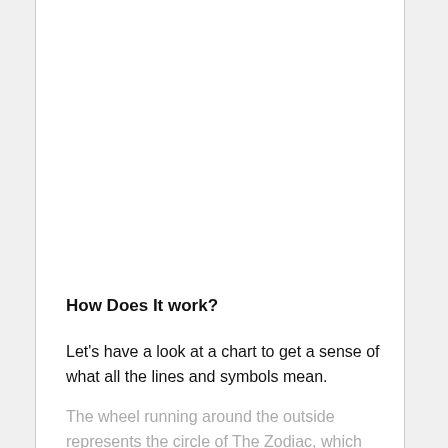How Does It work?
Let's have a look at a chart to get a sense of what all the lines and symbols mean.
The wheel running around the outside represents the circle of The Zodiac, which allows